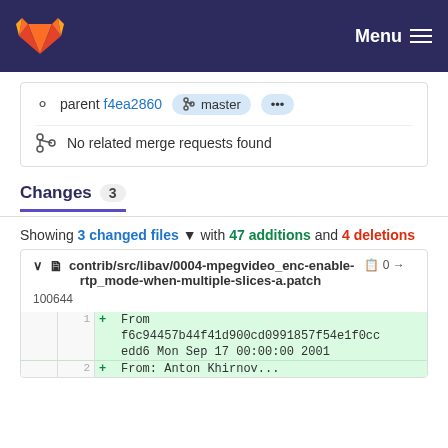GitLab — Menu
parent f4ea2860  master  ...
No related merge requests found
Changes 3
Showing 3 changed files with 47 additions and 4 deletions
contrib/src/libav/0004-mpegvideo_enc-enable-rtp_mode-when-multiple-slices-a.patch  0 → 100644
1  + From f6c94457b44f41d900cd0991857f54e1f0cc edd6 Mon Sep 17 00:00:00 2001
2  + From: Anton Khirnov...